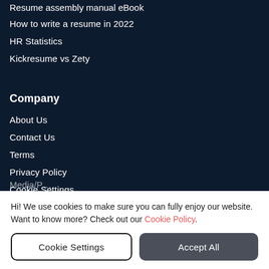Resume assembly manual eBook
How to write a resume in 2022
HR Statistics
Kickresume vs Zety
Company
About Us
Contact Us
Terms
Privacy Policy
Cookie Settings
Media/P…
Hi! We use cookies to make sure you can fully enjoy our website. Want to know more? Check out our Cookie Policy.
Cookie Settings | Accept All